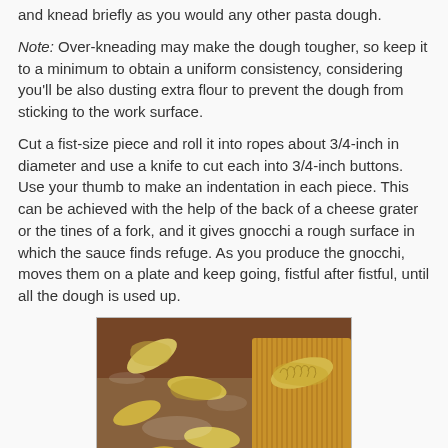and knead briefly as you would any other pasta dough.
Note: Over-kneading may make the dough tougher, so keep it to a minimum to obtain a uniform consistency, considering you'll be also dusting extra flour to prevent the dough from sticking to the work surface.
Cut a fist-size piece and roll it into ropes about 3/4-inch in diameter and use a knife to cut each into 3/4-inch buttons. Use your thumb to make an indentation in each piece. This can be achieved with the help of the back of a cheese grater or the tines of a fork, and it gives gnocchi a rough surface in which the sauce finds refuge. As you produce the gnocchi, moves them on a plate and keep going, fistful after fistful, until all the dough is used up.
[Figure (photo): Photo of freshly made gnocchi pieces with ridged texture on a floured surface next to a wooden gnocchi board]